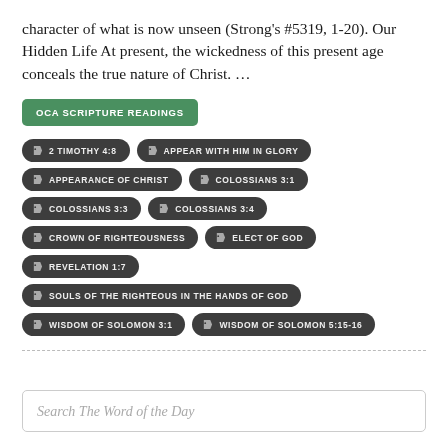character of what is now unseen (Strong's #5319, 1-20). Our Hidden Life At present, the wickedness of this present age conceals the true nature of Christ. …
OCA SCRIPTURE READINGS
2 TIMOTHY 4:8
APPEAR WITH HIM IN GLORY
APPEARANCE OF CHRIST
COLOSSIANS 3:1
COLOSSIANS 3:3
COLOSSIANS 3:4
CROWN OF RIGHTEOUSNESS
ELECT OF GOD
REVELATION 1:7
SOULS OF THE RIGHTEOUS IN THE HANDS OF GOD
WISDOM OF SOLOMON 3:1
WISDOM OF SOLOMON 5:15-16
Search The Word of the Day